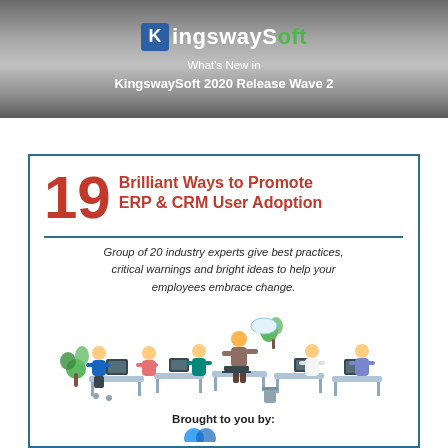KingswaySoft
What's New in KingswaySoft 2020 Release Wave 2
19 Brilliant Ways to Promote ERP & CRM User Adoption
Group of 20 industry experts give best practices, critical warnings and bright ideas to help your employees embrace change.
[Figure (illustration): Office scene with multiple employees working at desks with computers, a standing person presenting, and a plant in the background — colorful flat illustration]
Brought to you by:
[Figure (logo): Partially visible logo at the bottom of the card]